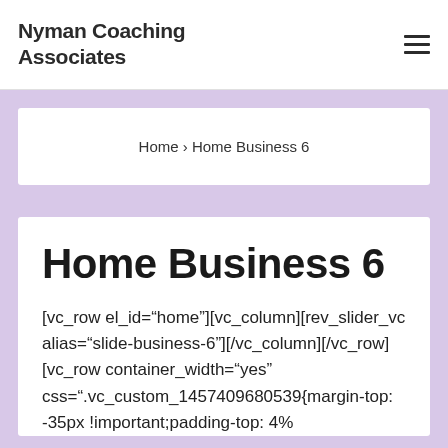Nyman Coaching Associates
Home › Home Business 6
Home Business 6
[vc_row el_id="home"][vc_column][rev_slider_vc alias="slide-business-6"][/vc_column][/vc_row] [vc_row container_width="yes" css=".vc_custom_1457409680539{margin-top: -35px !important;padding-top: 4%